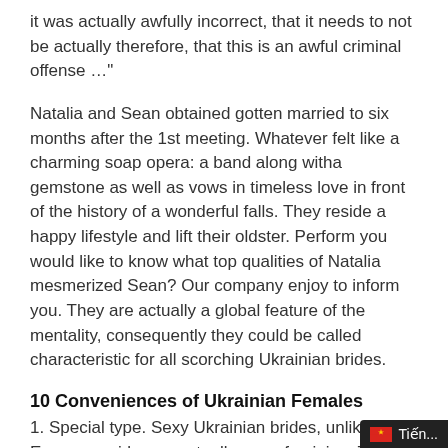it was actually awfully incorrect, that it needs to not be actually therefore, that this is an awful criminal offense …"
Natalia and Sean obtained gotten married to six months after the 1st meeting. Whatever felt like a charming soap opera: a band along witha gemstone as well as vows in timeless love in front of the history of a wonderful falls. They reside a happy lifestyle and lift their oldster. Perform you would like to know what top qualities of Natalia mesmerized Sean? Our company enjoy to inform you. They are actually a global feature of the mentality, consequently they could be called characteristic for all scorching Ukrainian brides.
10 Conveniences of Ukrainian Females
1. Special type. Sexy Ukrainian brides, unlike European girls, are actually more feminine. They like to spruce up as well as care for their look, always would like to appear one hundred%! Quick flanks, hairpins, att